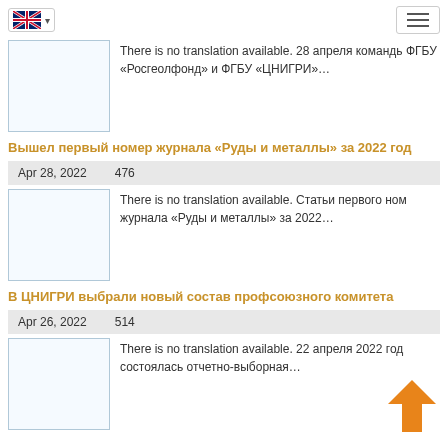[Figure (screenshot): UK flag language selector button and hamburger menu button in top navigation bar]
There is no translation available. 28 апреля командь ФГБУ «Росгеолфонд» и ФГБУ «ЦНИГРИ»…
Вышел первый номер журнала «Руды и металлы» за 2022 год
Apr 28, 2022   476
There is no translation available. Статьи первого ном журнала «Руды и металлы» за 2022…
В ЦНИГРИ выбрали новый состав профсоюзного комитета
Apr 26, 2022   514
There is no translation available. 22 апреля 2022 год состоялась отчетно-выборная…
[Figure (illustration): Orange upward-pointing arrow icon for scroll to top]